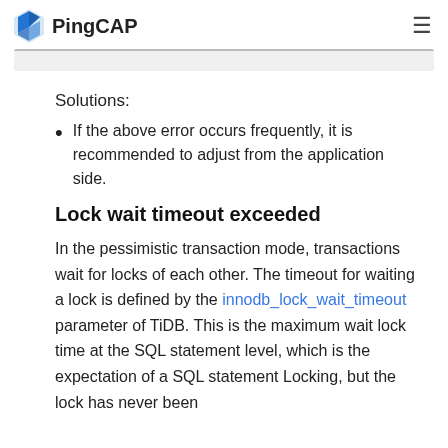PingCAP
Solutions:
If the above error occurs frequently, it is recommended to adjust from the application side.
Lock wait timeout exceeded
In the pessimistic transaction mode, transactions wait for locks of each other. The timeout for waiting a lock is defined by the innodb_lock_wait_timeout parameter of TiDB. This is the maximum wait lock time at the SQL statement level, which is the expectation of a SQL statement Locking, but the lock has never been